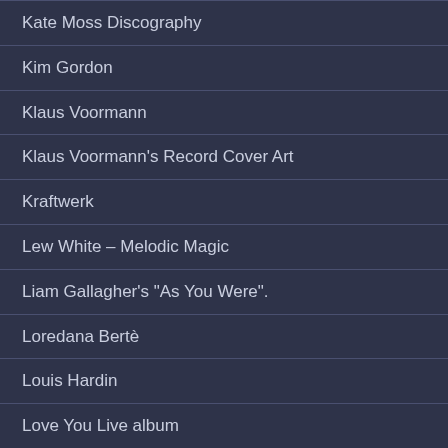Kate Moss Discography
Kim Gordon
Klaus Voormann
Klaus Voormann's Record Cover Art
Kraftwerk
Lew White – Melodic Magic
Liam Gallagher's "As You Were".
Loredana Bertè
Louis Hardin
Love You Live album
Madonna's "Celebration"
Magic Vinyl Display